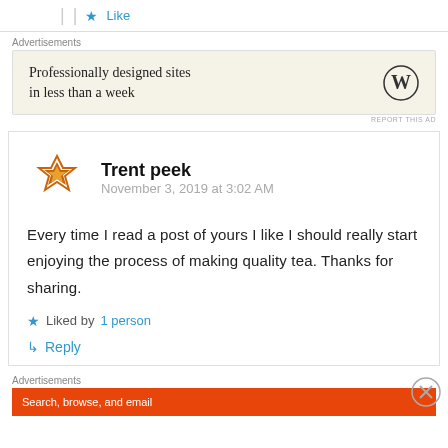Like
Advertisements
[Figure (infographic): WordPress advertisement banner with text 'Professionally designed sites in less than a week' and WordPress logo]
REPORT THIS AD
Trent peek
November 3, 2019 at 3:02 AM
Every time I read a post of yours I like I should really start enjoying the process of making quality tea. Thanks for sharing.
Liked by 1 person
Reply
Advertisements
[Figure (infographic): Bottom advertisement banner with orange/red background and text 'Search, browse, and email']